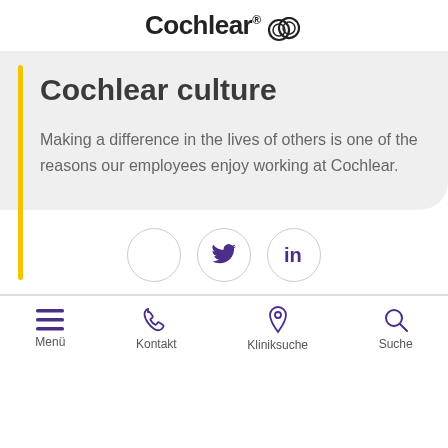Cochlear (logo)
Cochlear culture
Making a difference in the lives of others is one of the reasons our employees enjoy working at Cochlear.
[Figure (other): Social media icon circles: empty circle, Twitter bird icon, LinkedIn 'in' icon]
Menü | Kontakt | Kliniksuche | Suche